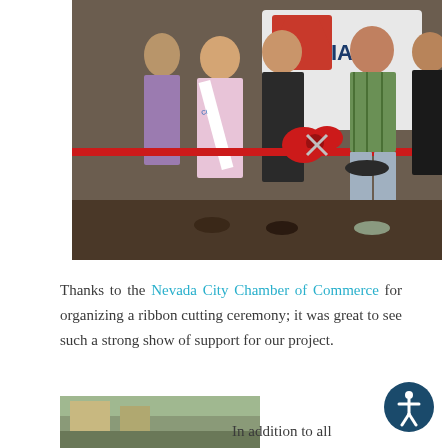[Figure (photo): Group of people standing outdoors at a ribbon cutting ceremony. A woman in a pageant sash and pink dress stands on the left, a woman in a black dress holds scissors cutting a red ribbon in the center, a man in a plaid shirt and shorts stands next to her, and a woman in black stands on the right. A sign in the background reads 'ORNIA'. A large red bow is visible at the center of the ribbon.]
Thanks to the Nevada City Chamber of Commerce for organizing a ribbon cutting ceremony; it was great to see such a strong show of support for our project.
[Figure (photo): Partial photo visible at bottom left of page, appears to show an outdoor scene.]
In addition to all